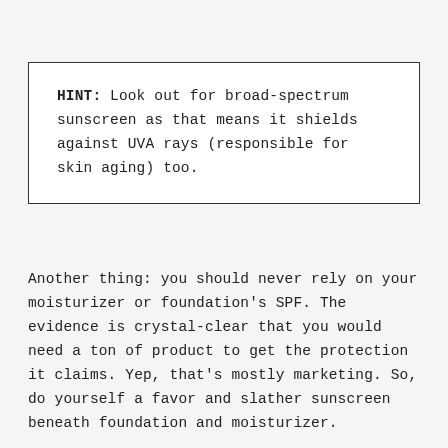HINT: Look out for broad-spectrum sunscreen as that means it shields against UVA rays (responsible for skin aging) too.
Another thing: you should never rely on your moisturizer or foundation's SPF. The evidence is crystal-clear that you would need a ton of product to get the protection it claims. Yep, that's mostly marketing. So, do yourself a favor and slather sunscreen beneath foundation and moisturizer.